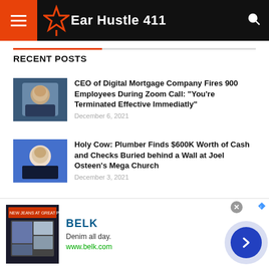Ear Hustle 411
RECENT POSTS
CEO of Digital Mortgage Company Fires 900 Employees During Zoom Call: "You're Terminated Effective Immediatly"
December 6, 2021
Holy Cow: Plumber Finds $600K Worth of Cash and Checks Buried behind a Wall at Joel Osteen's Mega Church
December 3, 2021
Did You Know Boxer Floyd Mayweather Owns Nine Skyscrapers?
November 25, 2021
[Figure (infographic): BELK advertisement banner with Denim all day. www.belk.com]